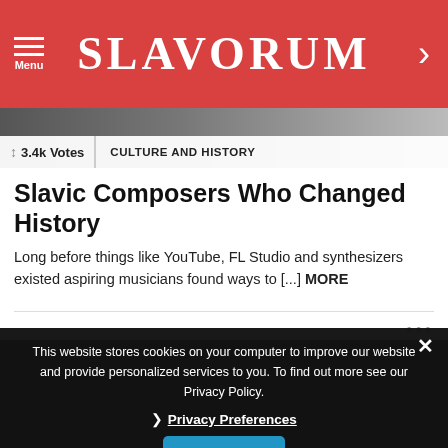Menu | SLAVORUM
[Figure (photo): Partial photo strip with votes tag '3.4k Votes' and category label 'CULTURE AND HISTORY']
Slavic Composers Who Changed History
Long before things like YouTube, FL Studio and synthesizers existed aspiring musicians found ways to [...] MORE
This website stores cookies on your computer to improve our website and provide personalized services to you. To find out more see our Privacy Policy.
❯ Privacy Preferences
I Agree